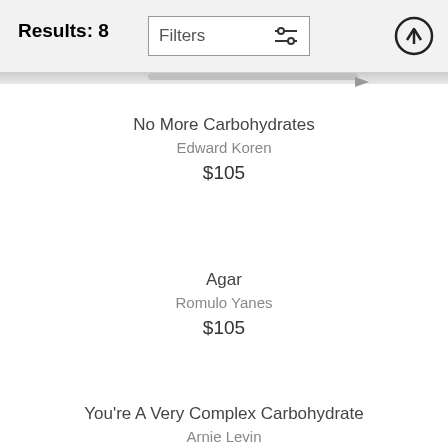Results: 8
Filters
No More Carbohydrates
Edward Koren
$105
Agar
Romulo Yanes
$105
You're A Very Complex Carbohydrate
Arnie Levin